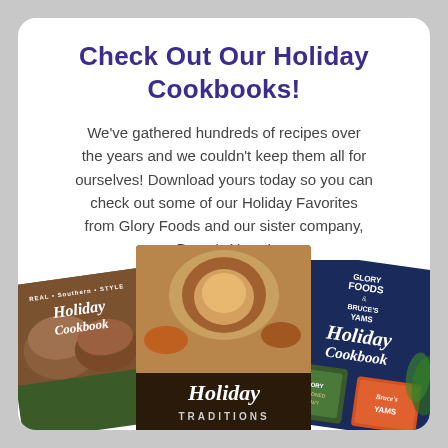Check Out Our Holiday Cookbooks!
We've gathered hundreds of recipes over the years and we couldn't keep them all for ourselves! Download yours today so you can check out some of our Holiday Favorites from Glory Foods and our sister company, Bruce's Yams!
[Figure (illustration): Three holiday cookbook covers fanned out: left is 'Real Southern Style Holiday Cookbook' with muffins/biscuits, center is 'Holiday Traditions' with roast turkey overhead, right is 'Glory Foods & Bruce's Yams Holiday Cookbook' on dark navy background with canned products.]